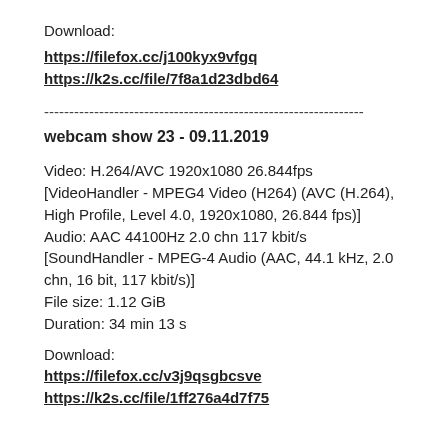Download:
https://filefox.cc/j100kyx9vfgq
https://k2s.cc/file/7f8a1d23dbd64
----------------------------------------------------------------
webcam show 23 - 09.11.2019
Video: H.264/AVC 1920x1080 26.844fps [VideoHandler - MPEG4 Video (H264) (AVC (H.264), High Profile, Level 4.0, 1920x1080, 26.844 fps)]
Audio: AAC 44100Hz 2.0 chn 117 kbit/s [SoundHandler - MPEG-4 Audio (AAC, 44.1 kHz, 2.0 chn, 16 bit, 117 kbit/s)]
File size: 1.12 GiB
Duration: 34 min 13 s
Download:
https://filefox.cc/v3j9qsgbcsve
https://k2s.cc/file/1ff276a4d7f75